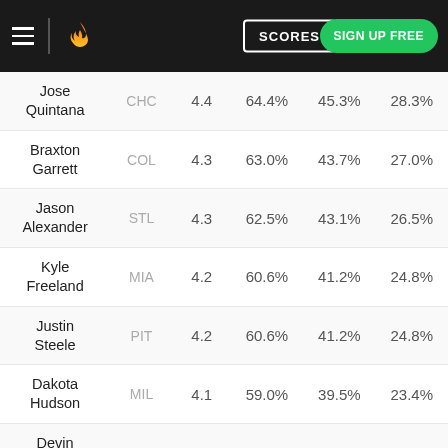SCORES | SIGN UP FREE
| Player | Team | Col3 | Col4 | Col5 | Col6 |
| --- | --- | --- | --- | --- | --- |
| Jose Quintana | CHC | 4.4 | 64.4% | 45.3% | 28.3% |
| Braxton Garrett | COL | 4.3 | 63.0% | 43.7% | 27.0% |
| Jason Alexander | STL | 4.3 | 62.5% | 43.1% | 26.5% |
| Kyle Freeland | MIA | 4.2 | 60.6% | 41.2% | 24.8% |
| Justin Steele | PIT | 4.2 | 60.6% | 41.2% | 24.8% |
| Dakota Hudson | MIL | 4.1 | 59.0% | 39.5% | 23.4% |
| Devin Smeltzer | CLE | 4.0 | 55.9% | 36.3% | 20.9% |
| Zach Plesac | MIN | 4.0 | 55.7% | 36.1% | 20.7% |
| Dean Kremer | CHW | 3.5 | 46.3% | 27.5% | 14.2% |